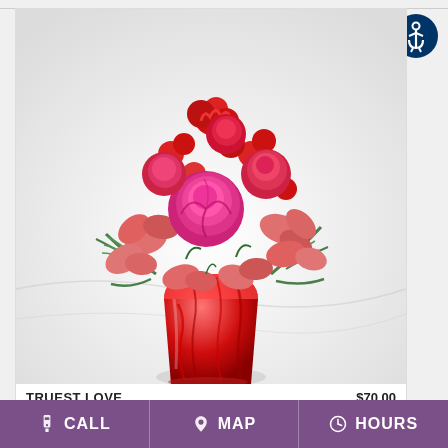[Figure (photo): Flower bouquet arrangement called Truest Love — red and pink roses, red carnations, pink alstroemeria, and green ferns in a red crystal-cut glass vase on a marble surface]
TRUEST LOVE   $70.00
[Figure (logo): Accessibility icon: circular navy blue badge with a white wheelchair/person symbol]
CALL   MAP   HOURS